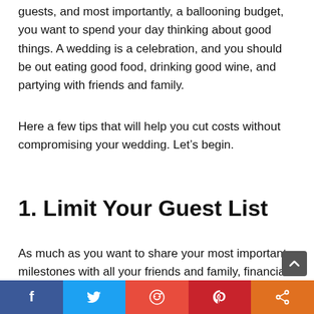guests, and most importantly, a ballooning budget, you want to spend your day thinking about good things. A wedding is a celebration, and you should be out eating good food, drinking good wine, and partying with friends and family.
Here a few tips that will help you cut costs without compromising your wedding. Let's begin.
1. Limit Your Guest List
As much as you want to share your most important milestones with all your friends and family, financial considerations can put a damper on your plans. It's not a good
[Figure (infographic): Social sharing bar at the bottom with Facebook (blue), Twitter (light blue), Reddit (red), Pinterest (dark red), and Share (orange) buttons]